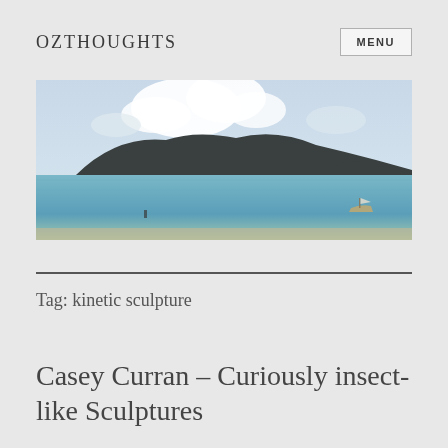OZTHOUGHTS
[Figure (photo): Panoramic coastal scene with a mountain/island in the background, calm blue sea water in the foreground, and a small boat visible on the right side. Partly cloudy sky above.]
Tag: kinetic sculpture
Casey Curran – Curiously insect-like Sculptures